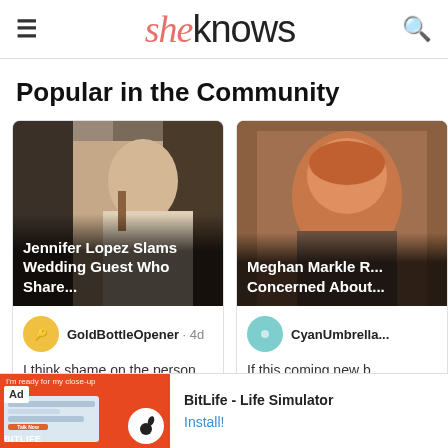sheknows — site header with hamburger menu and search icon
Popular in the Community
[Figure (screenshot): Article card: Jennifer Lopez Slams Wedding Guest Who Share... with comment by GoldBottleOpener 4d: I think shame on the person that leaked photos and video. I did n...]
[Figure (screenshot): Article card: Meghan Markle R... Concerned About... with comment by CyanUmbrella...: If this coming new b by Harry is another]
[Figure (screenshot): Ad banner: BitLife - Life Simulator with Install! button]